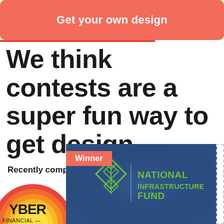Get your own design
We think contests are a super fun way to get design.
Recently completed contests:
[Figure (logo): Cyber Financial logo — partial orange/yellow/red sunrise arc with text YBER FINANCIAL partially visible]
[Figure (logo): National Infrastructure Fund contest winner card — dark blue background with geometric green diamond/tree logo and text NATIONAL INFRASTRUCTURE FUND. Red 'Winner' badge in top-left corner.]